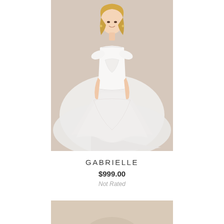[Figure (photo): A woman wearing a white A-line wedding gown with cap sleeves, lace bodice, and flowing tulle skirt with a long train, standing against a beige/tan background.]
GABRIELLE
$999.00
Not Rated
[Figure (photo): Partial view of another wedding dress product, cropped at the bottom of the page, showing beige background.]